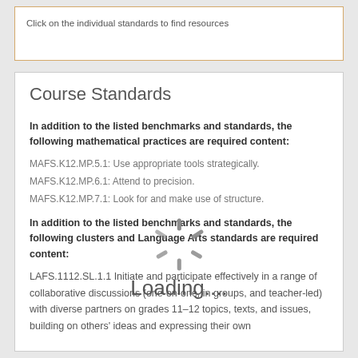Click on the individual standards to find resources
Course Standards
In addition to the listed benchmarks and standards, the following mathematical practices are required content:
MAFS.K12.MP.5.1: Use appropriate tools strategically.
MAFS.K12.MP.6.1: Attend to precision.
MAFS.K12.MP.7.1: Look for and make use of structure.
[Figure (other): Loading spinner animation overlay with text 'Loading....']
In addition to the listed benchmarks and standards, the following clusters and Language Arts standards are required content:
LAFS.1112.SL.1.1 Initiate and participate effectively in a range of collaborative discussions (one-on-one, in groups, and teacher-led) with diverse partners on grades 11–12 topics, texts, and issues, building on others' ideas and expressing their own